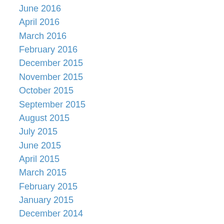June 2016
April 2016
March 2016
February 2016
December 2015
November 2015
October 2015
September 2015
August 2015
July 2015
June 2015
April 2015
March 2015
February 2015
January 2015
December 2014
November 2014
October 2014
September 2014
August 2014